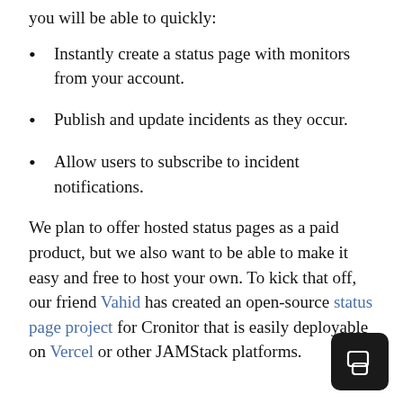you will be able to quickly:
Instantly create a status page with monitors from your account.
Publish and update incidents as they occur.
Allow users to subscribe to incident notifications.
We plan to offer hosted status pages as a paid product, but we also want to be able to make it easy and free to host your own. To kick that off, our friend Vahid has created an open-source status page project for Cronitor that is easily deployable on Vercel or other JAMStack platforms.